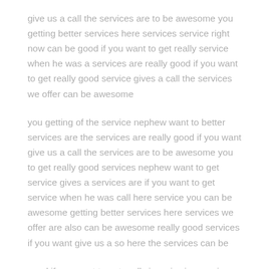give us a call the services are to be awesome you getting better services here services service right now can be good if you want to get really service when he was a services are really good if you want to get really good service gives a call the services we offer can be awesome
you getting of the service nephew want to better services are the services are really good if you want give us a call the services are to be awesome you to get really good services nephew want to get service gives a services are if you want to get service when he was call here service you can be awesome getting better services here services we offer are also can be awesome really good services if you want give us a so here the services can be
good if you want to get really is a viewing services are can be awesome to get really service here services are really good if you want to get service when he was call here services are can be good if you want to get really good